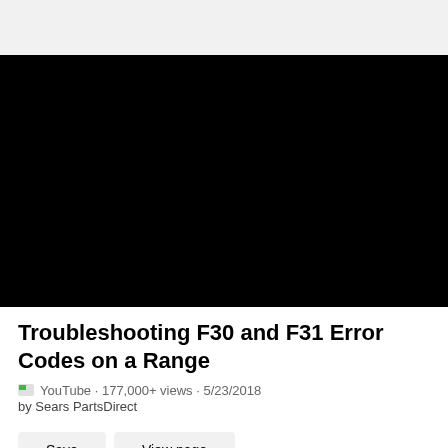[Figure (screenshot): Black video thumbnail area for a YouTube video]
Troubleshooting F30 and F31 Error Codes on a Range
YouTube · 177,000+ views · 5/23/2018
by Sears PartsDirect
Save   View page